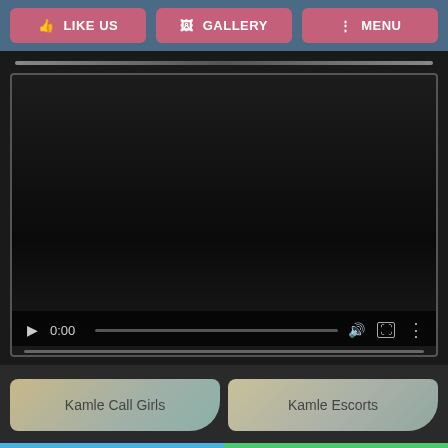[Figure (screenshot): Mobile website screenshot showing navigation buttons (LIKE US, GALLERY, MENU), a video player with controls showing 0:00, tag buttons for Kamle Call Girls and Kamle Escorts, and bottom action bar with Call Now 6355507247 and WhatsApp.]
👍 LIKE US
🖼 GALLERY
⋮ MENU
0:00
Kamle Call Girls
Kamle Escorts
Call Now 6355507247
WhatsApp